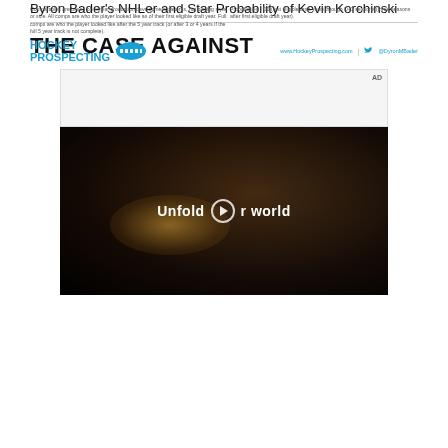Comparables are based on similar production/development patterns, not playing style or size. All comps are who the player looked like as of their first eligible draft year. Full comps are who the player looked like after the 5 year track (or after 3 or 4 years if the full 5 year track is not complete).
Probabilities - D0 (first eligible draft year) through D+3 seasons (three seasons after first eligible draft year).
[Figure (logo): Hockey Prospecting logo with blue text and puck icon]
www.HockeyProspecting.com | @DyronMBader
Byron Bader's NHLer and Star Probability of Kevin Korchinski
THE CASE AGAINST
[Figure (other): Advertisement placeholder box with AD label]
[Figure (photo): Video thumbnail showing a person holding a folding phone in a car with text 'Unfold your world' and play button]